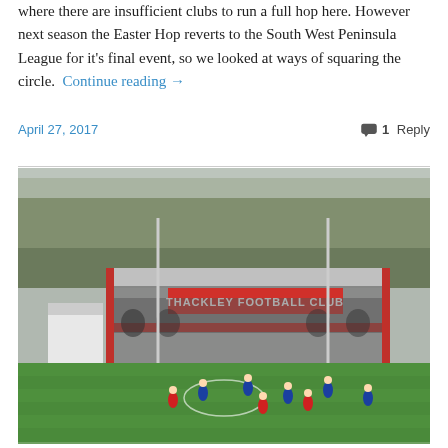where there are insufficient clubs to run a full hop here. However next season the Easter Hop reverts to the South West Peninsula League for it's final event, so we looked at ways of squaring the circle.  Continue reading →
April 27, 2017   1 Reply
[Figure (photo): A football match in progress at Thackley Football Club ground. Players in blue and red/white kits on a green pitch, with a covered stand displaying 'THACKLEY FOOTBALL CLUB' signage, floodlight poles, and bare trees in the background.]